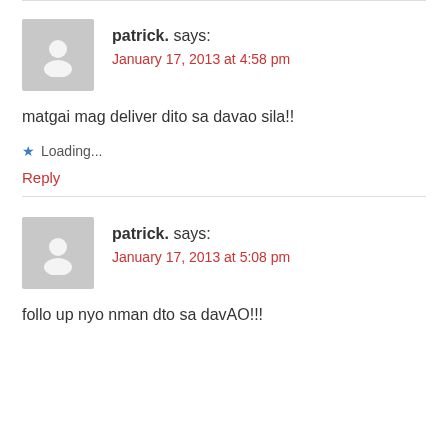patrick. says: January 17, 2013 at 4:58 pm
matgai mag deliver dito sa davao sila!!
Loading...
Reply
patrick. says: January 17, 2013 at 5:08 pm
follo up nyo nman dto sa davAO!!!